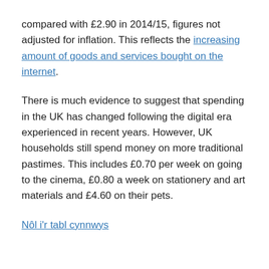compared with £2.90 in 2014/15, figures not adjusted for inflation. This reflects the increasing amount of goods and services bought on the internet.
There is much evidence to suggest that spending in the UK has changed following the digital era experienced in recent years. However, UK households still spend money on more traditional pastimes. This includes £0.70 per week on going to the cinema, £0.80 a week on stationery and art materials and £4.60 on their pets.
Nôl i'r tabl cynnwys